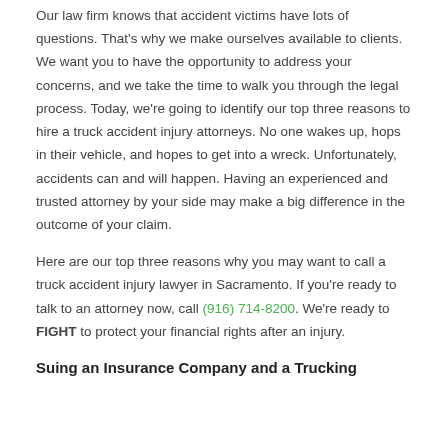Our law firm knows that accident victims have lots of questions. That's why we make ourselves available to clients. We want you to have the opportunity to address your concerns, and we take the time to walk you through the legal process. Today, we're going to identify our top three reasons to hire a truck accident injury attorneys. No one wakes up, hops in their vehicle, and hopes to get into a wreck. Unfortunately, accidents can and will happen. Having an experienced and trusted attorney by your side may make a big difference in the outcome of your claim.
Here are our top three reasons why you may want to call a truck accident injury lawyer in Sacramento. If you're ready to talk to an attorney now, call (916) 714-8200. We're ready to FIGHT to protect your financial rights after an injury.
Suing an Insurance Company and a Trucking